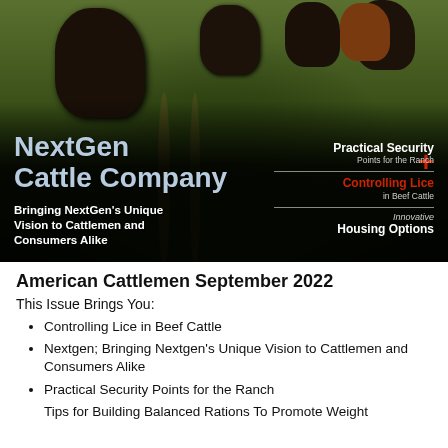[Figure (photo): Magazine cover photo showing black cattle walking through green field with grass tracks. Cover features 'NextGen Cattle Company' title text, subtitle 'Bringing NextGen's Unique Vision to Cattlemen and Consumers Alike', red plus sign, and sidebar teasers: 'Practical Security Points for the Ranch', 'Controlling Lice in Beef Cattle', 'Innovative Housing Options']
American Cattlemen September 2022
This Issue Brings You:
Controlling Lice in Beef Cattle
Nextgen; Bringing Nextgen's Unique Vision to Cattlemen and Consumers Alike
Practical Security Points for the Ranch
Tips for Building Balanced Rations To Promote Weight